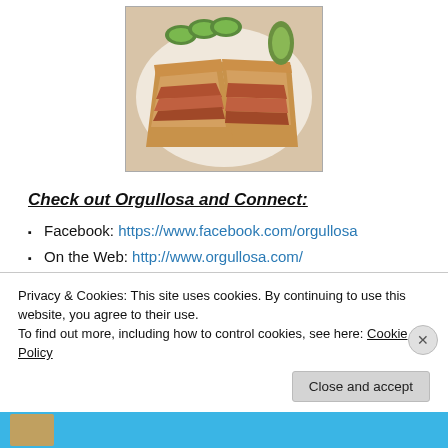[Figure (photo): Photo of a sandwich cut in half on a white plate, with pickles and cucumber slices on the side]
Check out Orgullosa and Connect:
Facebook: https://www.facebook.com/orgullosa
On the Web: http://www.orgullosa.com/
Twitter: https://twitter.com/ORGULLOSA
YouTube: https://www.youtube.com/user/miorgullosa?
Privacy & Cookies: This site uses cookies. By continuing to use this website, you agree to their use.
To find out more, including how to control cookies, see here: Cookie Policy
[Figure (photo): Blue banner strip at the bottom with a small thumbnail image]